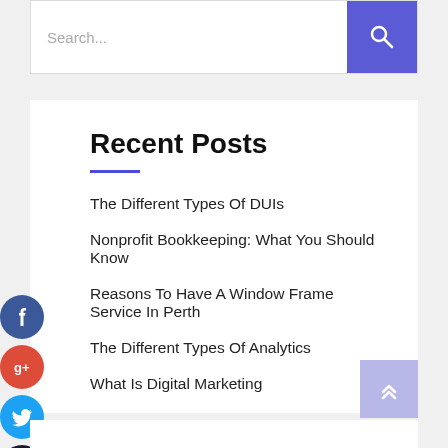[Figure (screenshot): Search bar with text input field showing placeholder 'Search...' and a blue search button with magnifying glass icon on the right]
Recent Posts
The Different Types Of DUIs
Nonprofit Bookkeeping: What You Should Know
Reasons To Have A Window Frame Service In Perth
The Different Types Of Analytics
What Is Digital Marketing